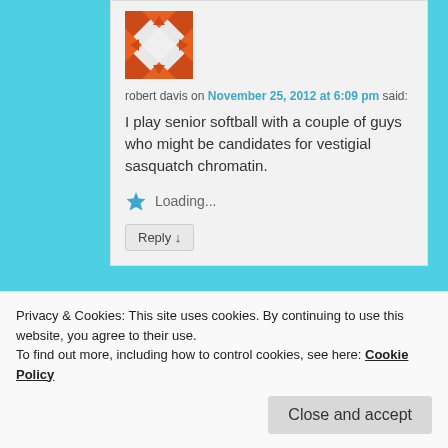[Figure (illustration): Orange geometric patterned avatar with triangles and arrows]
robert davis on November 25, 2012 at 6:09 pm said:
I play senior softball with a couple of guys who might be candidates for vestigial sasquatch chromatin.
Loading...
Reply ↓
[Figure (illustration): Green geometric patterned avatar partially visible]
did. It need not have evolved here with Native
Privacy & Cookies: This site uses cookies. By continuing to use this website, you agree to their use.
To find out more, including how to control cookies, see here: Cookie Policy
Close and accept